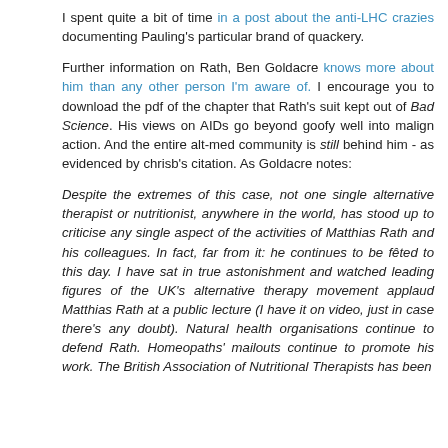I spent quite a bit of time in a post about the anti-LHC crazies documenting Pauling's particular brand of quackery.

Further information on Rath, Ben Goldacre knows more about him than any other person I'm aware of. I encourage you to download the pdf of the chapter that Rath's suit kept out of Bad Science. His views on AIDs go beyond goofy well into malign action. And the entire alt-med community is still behind him - as evidenced by chrisb's citation. As Goldacre notes:

Despite the extremes of this case, not one single alternative therapist or nutritionist, anywhere in the world, has stood up to criticise any single aspect of the activities of Matthias Rath and his colleagues. In fact, far from it: he continues to be fêted to this day. I have sat in true astonishment and watched leading figures of the UK's alternative therapy movement applaud Matthias Rath at a public lecture (I have it on video, just in case there's any doubt). Natural health organisations continue to defend Rath. Homeopaths' mailouts continue to promote his work. The British Association of Nutritional Therapists has been